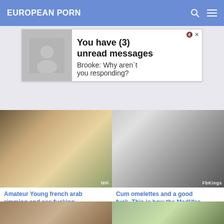EUROPEAN PORN
[Figure (screenshot): Advertisement banner: You have (3) unread messages. Brooke: Why aren't you responding?]
[Figure (photo): Video thumbnail - Amateur Young french arab rimming and ass fucking]
Amateur Young french arab rimming and ass fucking
amateur, anal, arab, ass
6:29  6910  15 April 2021
[Figure (photo): Video thumbnail - Cum omelettes and a good fuck. This is how the Madlifes]
Cum omelettes and a good fuck. This is how the Madlifes
amateur, blowjob, cum, cumshots
42:58  4671  30 March 2021
[Figure (photo): Partial video thumbnail bottom left]
[Figure (photo): Partial video thumbnail bottom right]